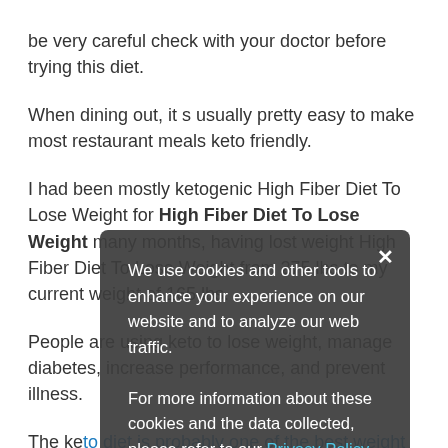be very careful check with your doctor before trying this diet.
When dining out, it s usually pretty easy to make most restaurant meals keto friendly.
I had been mostly ketogenic High Fiber Diet To Lose Weight for High Fiber Diet To Lose Weight many months, having lost weight High Fiber Diet To Lose Weight from 275 lbs to my current weight of 165 lbs.
People are using keto to lose weight, manage diabetes, increase performance, and prevent illness.
The keto diet is probably one of the best weight loss programs for severely restricting carbohydrates and compensating with loads of fat and High Fiber Diet To Lose Weight protein as an energy source.
We use cookies and other tools to enhance your experience on our website and to analyze our web traffic. For more information about these cookies and the data collected, please refer to our Privacy Policy.